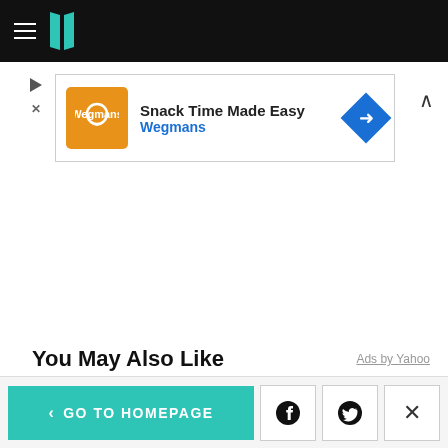HuffPost navigation bar with hamburger menu and logo
[Figure (screenshot): Advertisement banner for Wegmans: Snack Time Made Easy]
You May Also Like
Ads by Yahoo
< GO TO HOMEPAGE | Facebook share | Twitter share | Close